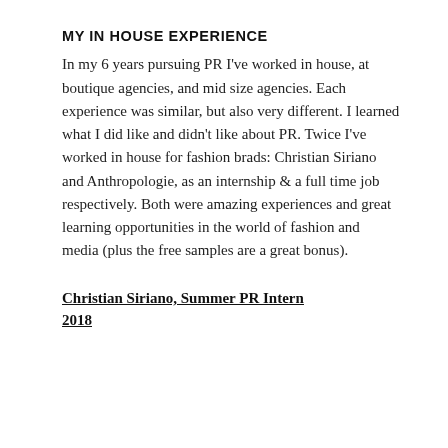MY IN HOUSE EXPERIENCE
In my 6 years pursuing PR I've worked in house, at boutique agencies, and mid size agencies. Each experience was similar, but also very different. I learned what I did like and didn't like about PR. Twice I've worked in house for fashion brads: Christian Siriano and Anthropologie, as an internship & a full time job respectively. Both were amazing experiences and great learning opportunities in the world of fashion and media (plus the free samples are a great bonus).
Christian Siriano, Summer PR Intern 2018